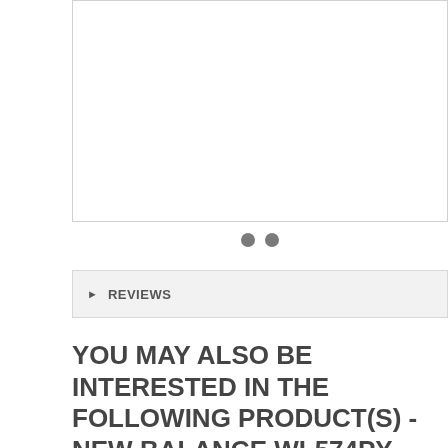[Figure (photo): White empty image box with border, product image placeholder]
• •
REVIEWS
YOU MAY ALSO BE INTERESTED IN THE FOLLOWING PRODUCT(S) - NEW BALANCE WL574PY SAFARI PACK PURPLE ORANGE YELLOW WOMEN'S SHOE